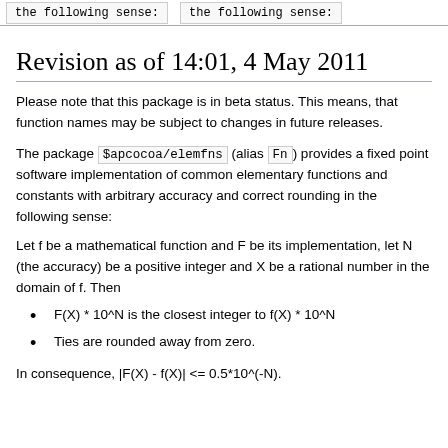the following sense:
the following sense:
Revision as of 14:01, 4 May 2011
Please note that this package is in beta status. This means, that function names may be subject to changes in future releases.
The package $apcocoa/elemfns (alias Fn) provides a fixed point software implementation of common elementary functions and constants with arbitrary accuracy and correct rounding in the following sense:
Let f be a mathematical function and F be its implementation, let N (the accuracy) be a positive integer and X be a rational number in the domain of f. Then
F(X) * 10^N is the closest integer to f(X) * 10^N
Ties are rounded away from zero.
In consequence, |F(X) - f(X)| <= 0.5*10^(-N).